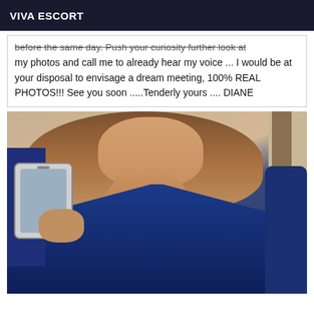VIVA ESCORT
before the same day. Push your curiosity further look at my photos and call me to already hear my voice ... I would be at your disposal to envisage a dream meeting, 100% REAL PHOTOS!!! See you soon .....Tenderly yours .... DIANE
[Figure (photo): A woman in a blue velvet deep-V dress taking a mirror selfie with a smartphone, with blonde hair.]